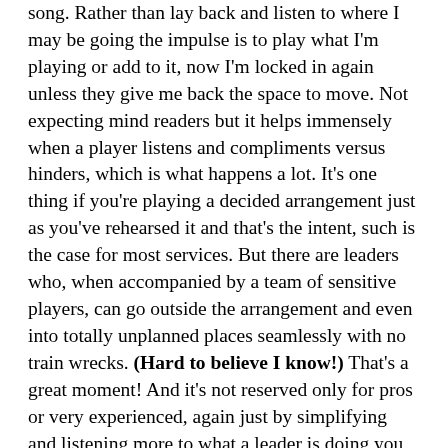song.  Rather than lay back and listen to where I may be going the impulse is to play what I'm playing or add to it, now I'm locked in again unless they give me back the space to move.  Not expecting mind readers but it helps immensely when a player listens and compliments versus hinders, which is what happens a lot.  It's one thing if you're playing a decided arrangement just as you've rehearsed it and that's the intent, such is the case for most services.  But there are leaders who, when accompanied by a team of sensitive players, can go outside the arrangement and even into totally unplanned places seamlessly with no train wrecks.  (Hard to believe I know!)  That's a great moment!  And it's not reserved only for pros or very experienced, again just by simplifying and listening more to what a leader is doing you can become a great follower and supporter.
 Textures and pads create more freedom and space and come across as tasteful, that's what gets you asked back more often!